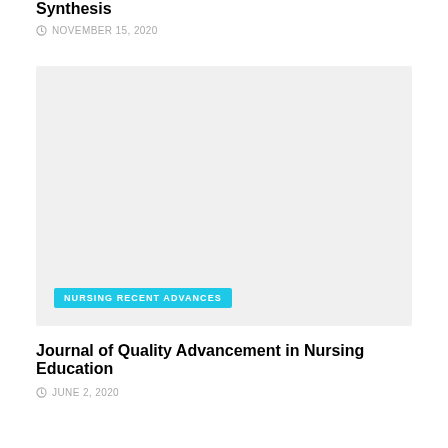Synthesis
NOVEMBER 15, 2020
[Figure (photo): Light gray placeholder image for a nursing journal article with a cyan badge reading 'NURSING RECENT ADVANCES']
NURSING RECENT ADVANCES
Journal of Quality Advancement in Nursing Education
JUNE 2, 2020